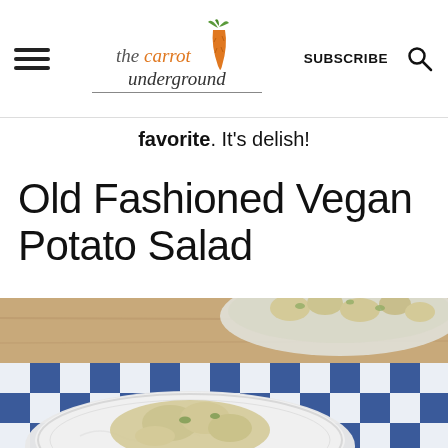the carrot underground | SUBSCRIBE
favorite. It's delish!
Old Fashioned Vegan Potato Salad
[Figure (photo): A bowl of vegan potato salad in the background on a wooden surface, with a decorative plate in the foreground sitting on a blue and white checkered cloth napkin.]